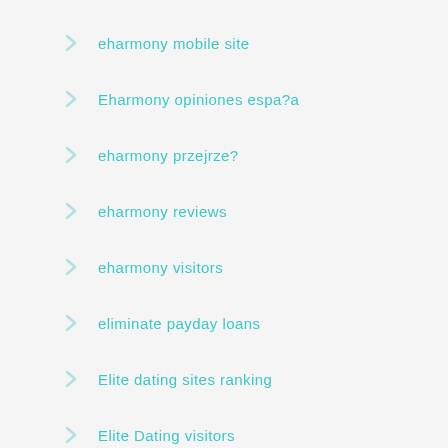eharmony mobile site
Eharmony opiniones espa?a
eharmony przejrze?
eharmony reviews
eharmony visitors
eliminate payday loans
Elite dating sites ranking
Elite Dating visitors
elite singles dating